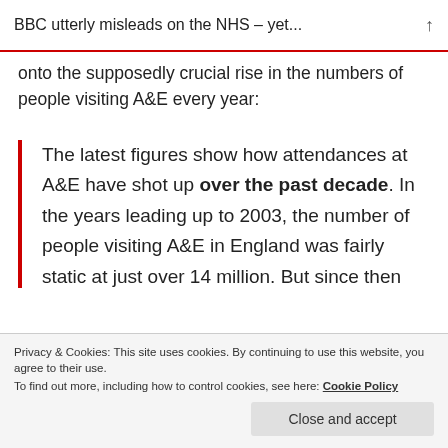BBC utterly misleads on the NHS – yet...
onto the supposedly crucial rise in the numbers of people visiting A&E every year:
The latest figures show how attendances at A&E have shot up over the past decade. In the years leading up to 2003, the number of people visiting A&E in England was fairly static at just over 14 million. But since then numbers have increased sharply to nearly 22 million patients last year. That's an increase of more than 50% in the last
Privacy & Cookies: This site uses cookies. By continuing to use this website, you agree to their use.
To find out more, including how to control cookies, see here: Cookie Policy